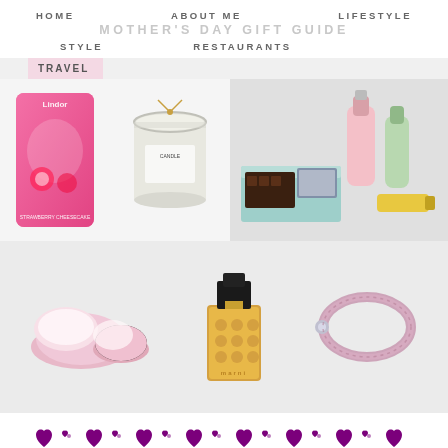HOME   ABOUT ME   LIFESTYLE
MOTHER'S DAY GIFT GUIDE
STYLE   RESTAURANTS
TRAVEL
[Figure (photo): Pink Lindt chocolate box with strawberry design]
[Figure (photo): Glass jar candle with gold ribbon tie and tag]
[Figure (photo): Gift set with bottles, chocolates and beauty products in decorative packaging]
[Figure (photo): Pink fluffy slippers]
[Figure (photo): Marni perfume bottle with polka dot design]
[Figure (photo): Pink braided leather bracelet with silver clasp]
[Figure (illustration): Row of alternating purple hearts and small butterfly/flower decorative icons]